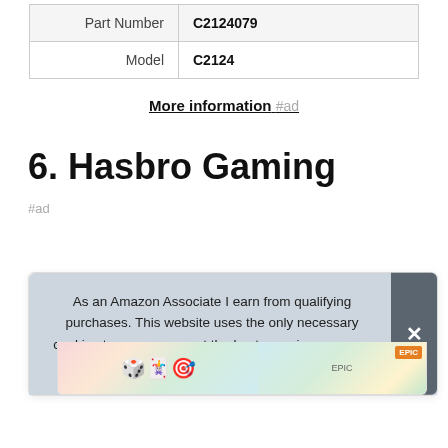| Part Number | C2124079 |
| Model | C2124 |
More information #ad
6. Hasbro Gaming
#ad
As an Amazon Associate I earn from qualifying purchases. This website uses the only necessary cookies to ensure you get the best experience on our website. More information